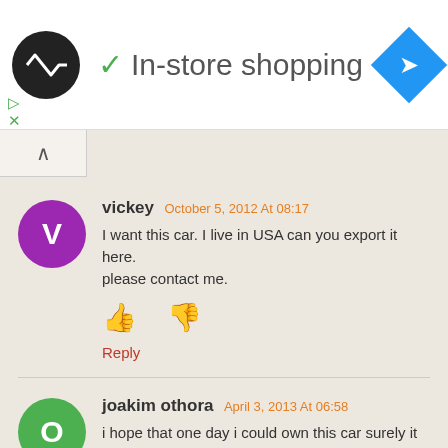In-store shopping
vickey October 5, 2012 At 08:17
I want this car. I live in USA can you export it here. please contact me.
Reply
joakim othora April 3, 2013 At 06:58
i hope that one day i could own this car surely it nice
Reply